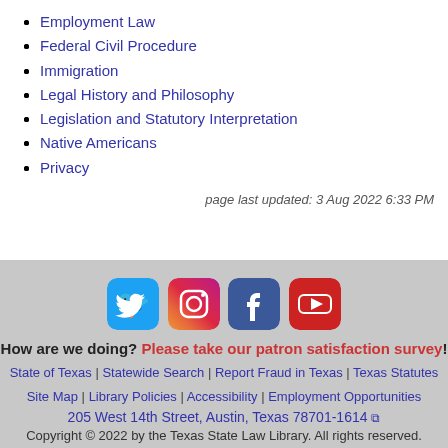Employment Law
Federal Civil Procedure
Immigration
Legal History and Philosophy
Legislation and Statutory Interpretation
Native Americans
Privacy
page last updated: 3 Aug 2022 6:33 PM
[Figure (infographic): Social media icons for Twitter, Instagram, Facebook, and YouTube]
How are we doing? Please take our patron satisfaction survey!
State of Texas | Statewide Search | Report Fraud in Texas | Texas Statutes
Site Map | Library Policies | Accessibility | Employment Opportunities
205 West 14th Street, Austin, Texas 78701-1614
Copyright © 2022 by the Texas State Law Library. All rights reserved.